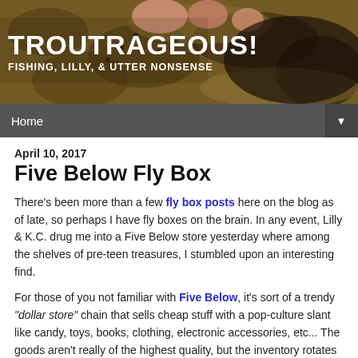[Figure (photo): Header banner photo showing a close-up of a fish (trout) with mottled brown/gold scales and pink/flesh-colored areas, likely being held by hands.]
TROUTRAGEOUS!
Fishing, Lilly, & Utter Nonsense
Home ▼
April 10, 2017
Five Below Fly Box
There's been more than a few fly box posts here on the blog as of late, so perhaps I have fly boxes on the brain. In any event, Lilly & K.C. drug me into a Five Below store yesterday where among the shelves of pre-teen treasures, I stumbled upon an interesting find.
For those of you not familiar with Five Below, it's sort of a trendy "dollar store" chain that sells cheap stuff with a pop-culture slant like candy, toys, books, clothing, electronic accessories, etc... The goods aren't really of the highest quality, but the inventory rotates